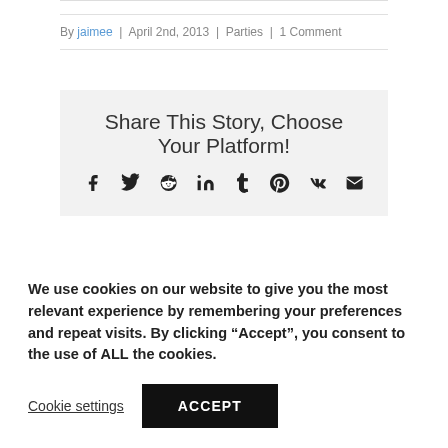By jaimee | April 2nd, 2013 | Parties | 1 Comment
Share This Story, Choose Your Platform!
[Figure (infographic): Social sharing icons: Facebook, Twitter, Reddit, LinkedIn, Tumblr, Pinterest, VK, Email]
We use cookies on our website to give you the most relevant experience by remembering your preferences and repeat visits. By clicking "Accept", you consent to the use of ALL the cookies.
Cookie settings   ACCEPT